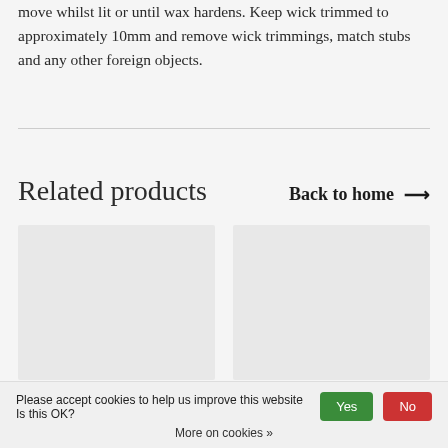move whilst lit or until wax hardens. Keep wick trimmed to approximately 10mm and remove wick trimmings, match stubs and any other foreign objects.
Related products
Back to home →
[Figure (other): Two product placeholder image cards side by side, light grey background rectangles]
Please accept cookies to help us improve this website Is this OK? Yes No
More on cookies »